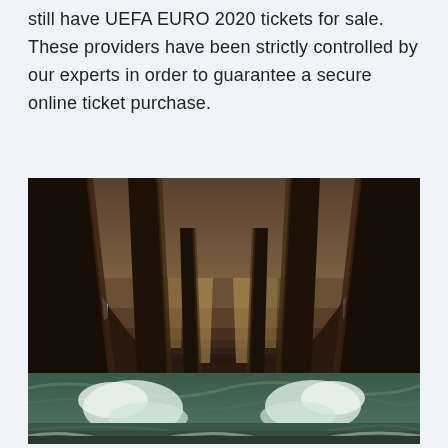still have UEFA EURO 2020 tickets for sale. These providers have been strictly controlled by our experts in order to guarantee a secure online ticket purchase.
[Figure (photo): A photograph taken from underneath a wooden pier looking outward. The perspective shows repeating wooden structural columns and crossbeams receding into the distance creating a tunnel-like vanishing point. Ocean waves and water are visible below, with sea foam and splashing water around the pier supports. The sky is visible on the left with some clouds.]